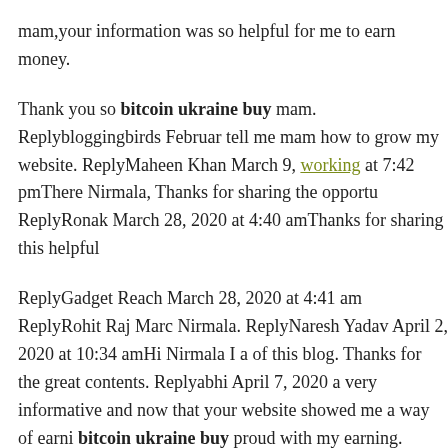mam,your information was so helpful for me to earn money.
Thank you so bitcoin ukraine buy mam. Replybloggingbirds February tell me mam how to grow my website. ReplyMaheen Khan March 9, working at 7:42 pmThere Nirmala, Thanks for sharing the opportu ReplyRonak March 28, 2020 at 4:40 amThanks for sharing this helpful
ReplyGadget Reach March 28, 2020 at 4:41 am ReplyRohit Raj Marc Nirmala. ReplyNaresh Yadav April 2, 2020 at 10:34 amHi Nirmala I a of this blog. Thanks for the great contents. Replyabhi April 7, 2020 a very informative and now that your website showed me a way of earni bitcoin ukraine buy proud with my earning.
Thank YOU Mam ReplyShivam Narayan April 11, 2020 at 9:40 amHe 2020 at 9:27 amhello Create a bitcoin wallet in Russian Madam, Th your website also showing many ways of earning from bitcoin ukrai get your tips to earning money. ReplyRicky April 19, 2020 at 6:24 a Blogging skills are Tremendous i really appreciate your article abo